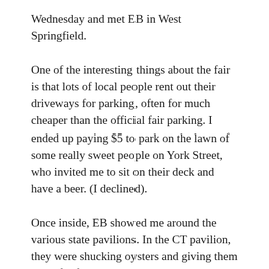Wednesday and met EB in West Springfield.
One of the interesting things about the fair is that lots of local people rent out their driveways for parking, often for much cheaper than the official fair parking. I ended up paying $5 to park on the lawn of some really sweet people on York Street, who invited me to sit on their deck and have a beer. (I declined).
Once inside, EB showed me around the various state pavilions. In the CT pavilion, they were shucking oysters and giving them away for free, so I had one of the best oysters I've ever had. I did some early Christmas shopping and bought some ice cider in the Vermont house,